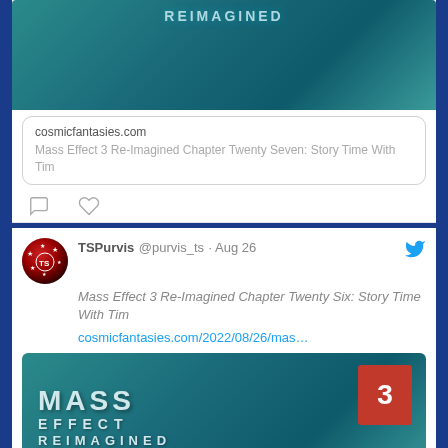[Figure (screenshot): Top portion of a tweet card showing a teal/ocean background image with 'REIMAGINED' text at top, followed by a link preview box showing 'cosmicfantasies.com' and 'Mass Effect 3 Re-Imagined Chapter Twenty Seven: Story Time With Tim', with comment and heart action icons below.]
[Figure (screenshot): A tweet by TSPurvis @purvis_ts · Aug 26 with Twitter bird icon. Text: 'Mass Effect 3 Re-Imagined Chapter Twenty Six: Story Time With Tim' and link 'cosmicfantasies.com/2022/08/26/mas…'. Below is a teal background image with Mass Effect 3 Reimagined logo text and a red badge with '3'.]